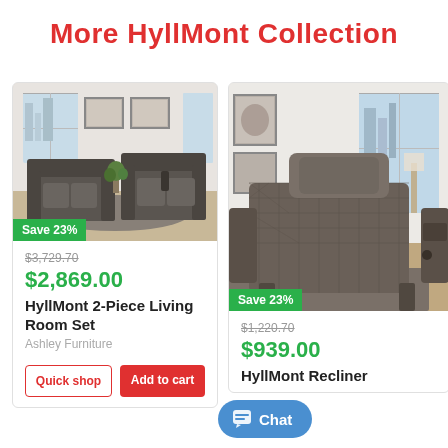More HyllMont Collection
[Figure (photo): HyllMont 2-piece reclining sofa and loveseat set in gray leather, shown in a modern living room with city view windows]
Save 23%
$3,729.70
$2,869.00
HyllMont 2-Piece Living Room Set
Ashley Furniture
Quick shop
Add to cart
[Figure (photo): HyllMont power recliner chair in gray leather with diamond quilted pattern, shown in a bright living room]
Save 23%
$1,220.70
$939.00
HyllMont Recliner
Ashley Furniture
Chat